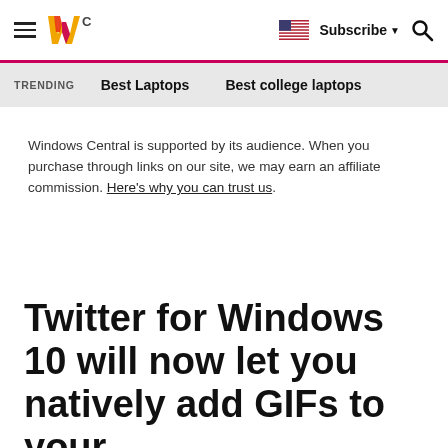Windows Central — Subscribe — Search
TRENDING   Best Laptops   Best college laptops
Windows Central is supported by its audience. When you purchase through links on our site, we may earn an affiliate commission. Here's why you can trust us.
Twitter for Windows 10 will now let you natively add GIFs to your